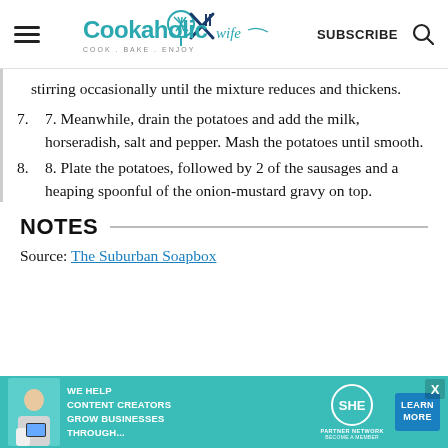Cookaholic Wife — COOK . BAKE . ENJOY | SUBSCRIBE
stirring occasionally until the mixture reduces and thickens.
7. 7. Meanwhile, drain the potatoes and add the milk, horseradish, salt and pepper. Mash the potatoes until smooth.
8. 8. Plate the potatoes, followed by 2 of the sausages and a heaping spoonful of the onion-mustard gravy on top.
NOTES
Source: The Suburban Soapbox
[Figure (infographic): Advertisement banner: SHE Partner Network — We Help Content Creators Grow Businesses Through... Become a Member. Learn More button.]